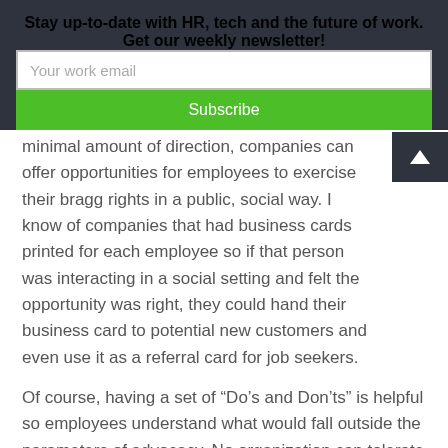Stay up-to-date with HR, tech and the future of work. Get our weekly newsletter!
Your work email
Subscribe
minimal amount of direction, companies can offer opportunities for employees to exercise their bragg rights in a public, social way. I know of companies that had business cards printed for each employee so if that person was interacting in a social setting and felt the opportunity was right, they could hand their business card to potential new customers and even use it as a referral card for job seekers.
Of course, having a set of “Do’s and Don’ts” is helpful so employees understand what would fall outside the parameters of advocacy. No organization can tolerate proprietary information being shared with people